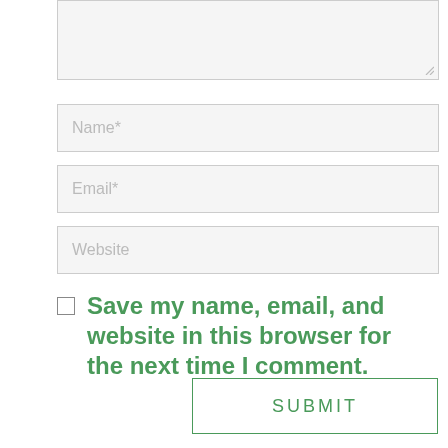[Figure (screenshot): Textarea input box (comment field), partially visible at top, with light gray background and resize handle at bottom right]
Name*
Email*
Website
Save my name, email, and website in this browser for the next time I comment.
SUBMIT